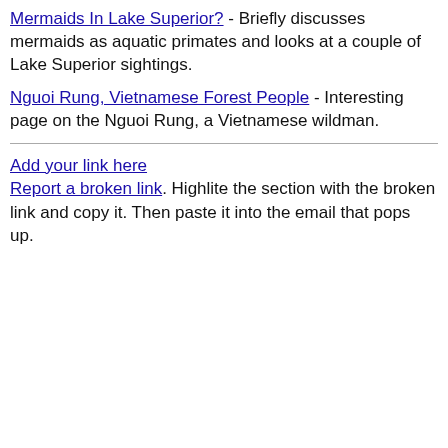Mermaids In Lake Superior? - Briefly discusses mermaids as aquatic primates and looks at a couple of Lake Superior sightings.
Nguoi Rung, Vietnamese Forest People - Interesting page on the Nguoi Rung, a Vietnamese wildman.
Add your link here
Report a broken link. Highlite the section with the broken link and copy it. Then paste it into the email that pops up.